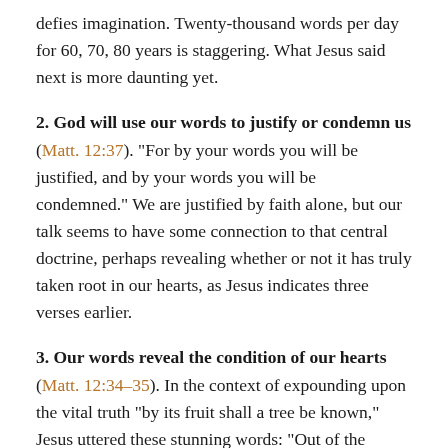defies imagination. Twenty-thousand words per day for 60, 70, 80 years is staggering. What Jesus said next is more daunting yet.
2. God will use our words to justify or condemn us (Matt. 12:37). "For by your words you will be justified, and by your words you will be condemned." We are justified by faith alone, but our talk seems to have some connection to that central doctrine, perhaps revealing whether or not it has truly taken root in our hearts, as Jesus indicates three verses earlier.
3. Our words reveal the condition of our hearts (Matt. 12:34-35). In the context of expounding upon the vital truth "by its fruit shall a tree be known," Jesus uttered these stunning words: "Out of the abundance of the heart, the mouth speaks. The good person out of his good treasure brings forth good, and the evil